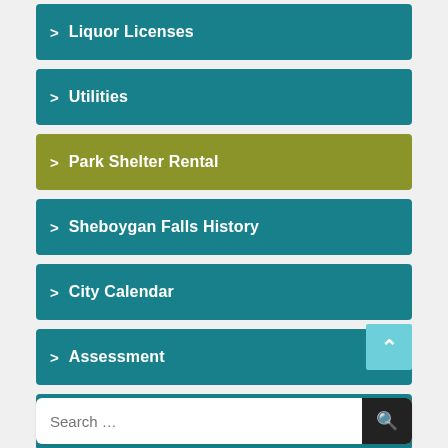Liquor Licenses
Utilities
Park Shelter Rental
Sheboygan Falls History
City Calendar
Assessment
Vision Business Park